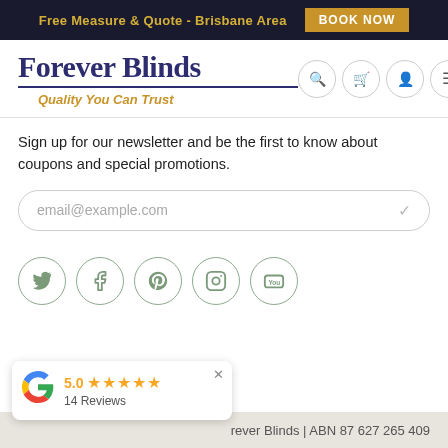Free Measure & Quote - Brisbane Area  BOOK NOW
Forever Blinds
Quality You Can Trust
Sign up for our newsletter and be the first to know about coupons and special promotions.
email@example.com
[Figure (infographic): Social media icons: Twitter, Facebook, Pinterest, Instagram, YouTube — each in a light green circular border]
[Figure (infographic): Google review popup showing 5.0 rating with 5 stars and 14 Reviews]
Forever Blinds | ABN 87 627 265 409